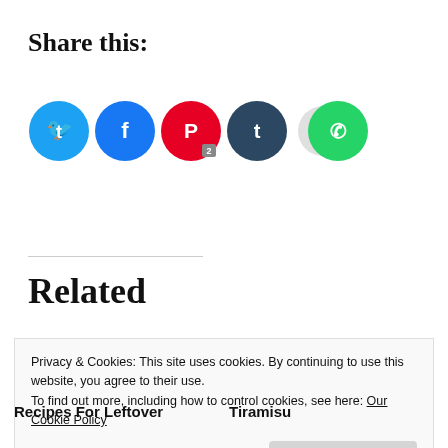Share this:
[Figure (infographic): Social sharing icon buttons: Twitter (blue), Facebook (blue), Pinterest (red with badge '2'), Tumblr (dark teal), Reddit (light grey), WhatsApp (green)]
Related
Privacy & Cookies: This site uses cookies. By continuing to use this website, you agree to their use.
To find out more, including how to control cookies, see here: Our Cookie Policy
Recipes For Leftover
Tiramisu